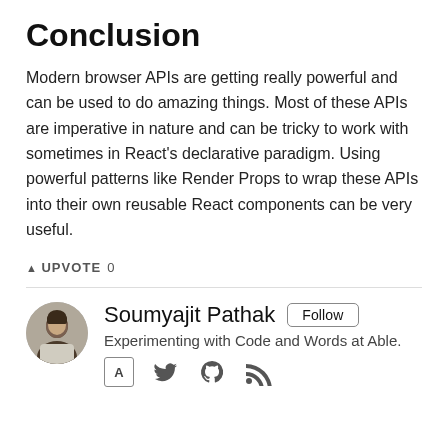Conclusion
Modern browser APIs are getting really powerful and can be used to do amazing things. Most of these APIs are imperative in nature and can be tricky to work with sometimes in React's declarative paradigm. Using powerful patterns like Render Props to wrap these APIs into their own reusable React components can be very useful.
▲ UPVOTE 0
Soumyajit Pathak
Experimenting with Code and Words at Able.